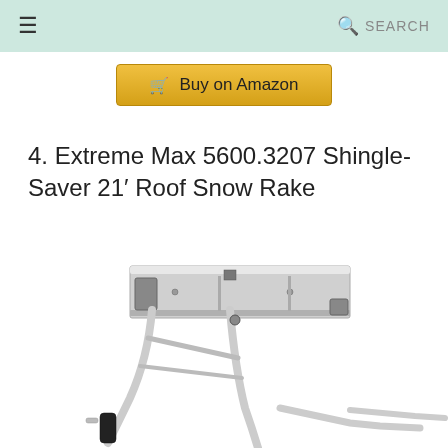≡   SEARCH
Buy on Amazon
4. Extreme Max 5600.3207 Shingle-Saver 21′ Roof Snow Rake
[Figure (photo): Close-up photo of the Extreme Max 5600.3207 Shingle-Saver Roof Snow Rake head showing a wide metal blade with angled aluminum poles and a black handle grip.]